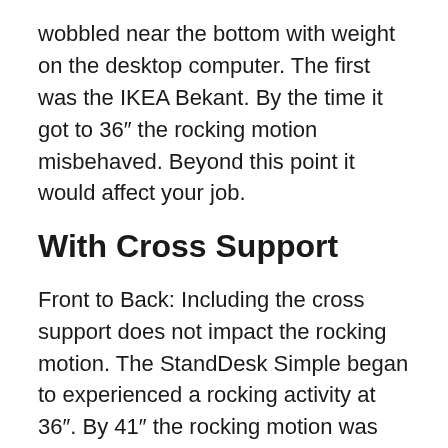wobbled near the bottom with weight on the desktop computer. The first was the IKEA Bekant. By the time it got to 36″ the rocking motion misbehaved. Beyond this point it would affect your job.
With Cross Support
Front to Back: Including the cross support does not impact the rocking motion. The StandDesk Simple began to experienced a rocking activity at 36″. By 41″ the rocking motion was bad.
Left to Right: Including the cross support to the StandDesk boosted the wobble activity for lower elevations. With the cross